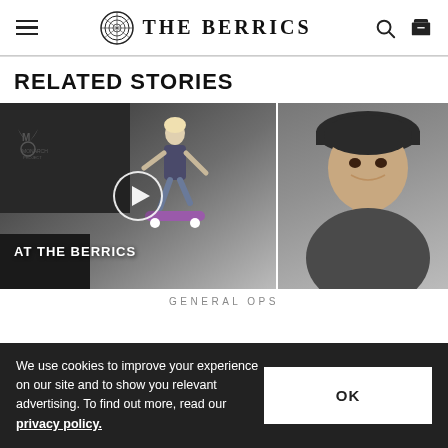THE BERRICS
RELATED STORIES
[Figure (screenshot): Video thumbnail showing a skateboarder performing a trick at The Berrics skate park, with Monarch Project logo visible, AT THE BERRICS overlay text, and a play button in the center.]
[Figure (photo): Photo of a young man smiling, wearing a dark t-shirt and cap, cropped to show face and upper body.]
GENERAL OPS
We use cookies to improve your experience on our site and to show you relevant advertising. To find out more, read our privacy policy.